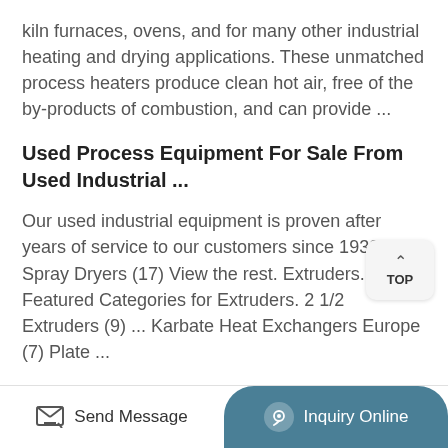kiln furnaces, ovens, and for many other industrial heating and drying applications. These unmatched process heaters produce clean hot air, free of the by-products of combustion, and can provide ...
Used Process Equipment For Sale From Used Industrial ...
Our used industrial equipment is proven after years of service to our customers since 1932. ... Spray Dryers (17) View the rest. Extruders. Featured Categories for Extruders. 2 1/2 Extruders (9) ... Karbate Heat Exchangers Europe (7) Plate ...
A User-Friendly Model For Spray Drying To Aid
...
Send Message | Inquiry Online